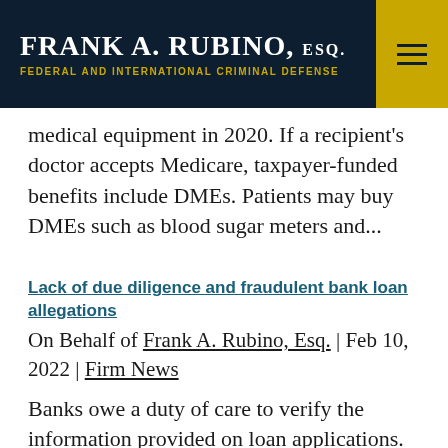FRANK A. RUBINO, ESQ. FEDERAL AND INTERNATIONAL CRIMINAL DEFENSE
medical equipment in 2020. If a recipient's doctor accepts Medicare, taxpayer-funded benefits include DMEs. Patients may buy DMEs such as blood sugar meters and...
Lack of due diligence and fraudulent bank loan allegations
On Behalf of Frank A. Rubino, Esq. | Feb 10, 2022 | Firm News
Banks owe a duty of care to verify the information provided on loan applications. Chron.com notes that a loan officer generally reviews "the five